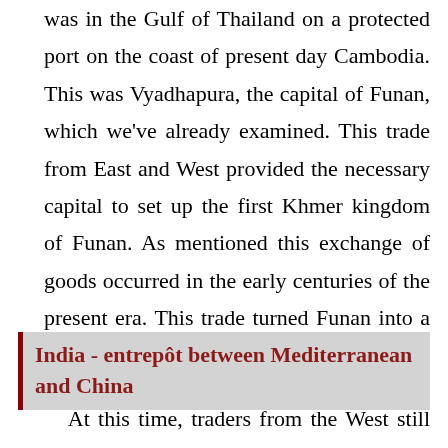was in the Gulf of Thailand on a protected port on the coast of present day Cambodia. This was Vyadhapura, the capital of Funan, which we've already examined. This trade from East and West provided the necessary capital to set up the first Khmer kingdom of Funan. As mentioned this exchange of goods occurred in the early centuries of the present era. This trade turned Funan into a wealthy country.
India - entrepôt between Mediterranean and China
At this time, traders from the West still got